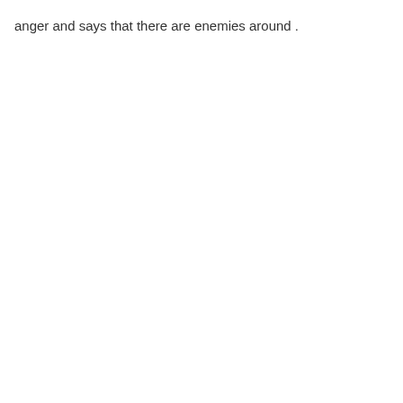anger and says that there are enemies around .